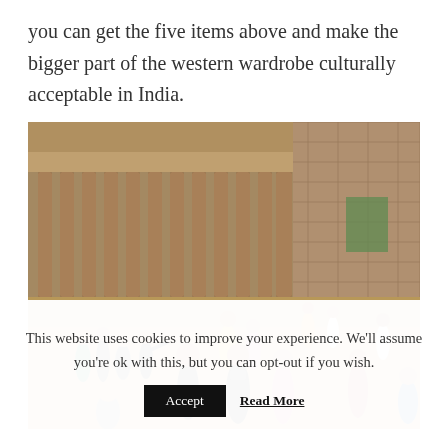you can get the five items above and make the bigger part of the western wardrobe culturally acceptable in India.
[Figure (photo): Photo of tourists visiting an ancient Indian monument with stone columns and courtyard, people in traditional and modern clothing walking around]
This website uses cookies to improve your experience. We'll assume you're ok with this, but you can opt-out if you wish.
Accept  Read More